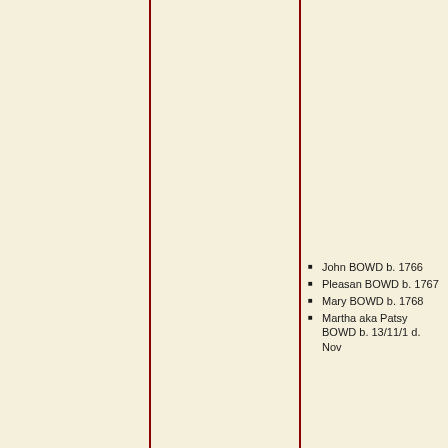John BOWD b. 1766
Pleasant BOWD b. 1767
Mary BOWD b. 1768
Martha aka Patsy BOWD b. 13/11/1 d. Nov